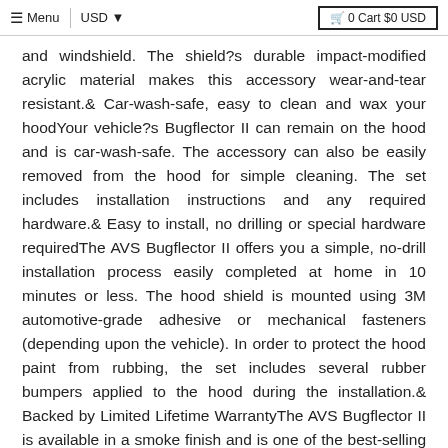≡ Menu  |  USD ▼   🛒 0 Cart $0 USD
and windshield. The shield?s durable impact-modified acrylic material makes this accessory wear-and-tear resistant.& Car-wash-safe, easy to clean and wax your hoodYour vehicle?s Bugflector II can remain on the hood and is car-wash-safe. The accessory can also be easily removed from the hood for simple cleaning. The set includes installation instructions and any required hardware.& Easy to install, no drilling or special hardware requiredThe AVS Bugflector II offers you a simple, no-drill installation process easily completed at home in 10 minutes or less. The hood shield is mounted using 3M automotive-grade adhesive or mechanical fasteners (depending upon the vehicle). In order to protect the hood paint from rubbing, the set includes several rubber bumpers applied to the hood during the installation.& Backed by Limited Lifetime WarrantyThe AVS Bugflector II is available in a smoke finish and is one of the best-selling products throughout North America. A Limited Lifetime Warranty protects your AVS Bugflector II?. Buy yours today and you?ll be ready for whatever the road throws.